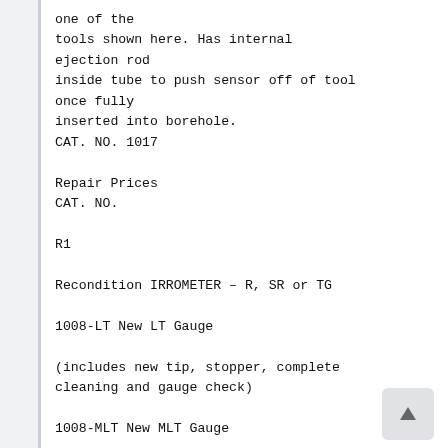one of the
tools shown here. Has internal
ejection rod
inside tube to push sensor off of tool
once fully
inserted into borehole.
CAT. NO. 1017

Repair Prices
CAT. NO.

R1

Recondition IRROMETER – R, SR or TG

1008-LT New LT Gauge

(includes new tip, stopper, complete
cleaning and gauge check)

1008-MLT New MLT Gauge